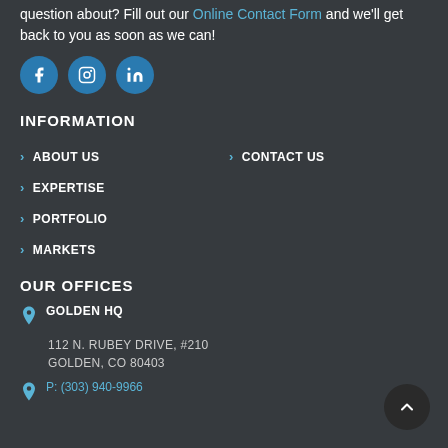question about? Fill out our Online Contact Form and we'll get back to you as soon as we can!
[Figure (illustration): Three social media icon circles: Facebook (f), Instagram (camera), LinkedIn (in) — teal/blue background circles]
INFORMATION
> ABOUT US
> CONTACT US
> EXPERTISE
> PORTFOLIO
> MARKETS
OUR OFFICES
GOLDEN HQ
112 N. RUBEY DRIVE, #210
GOLDEN, CO 80403
P: (303) 940-9966